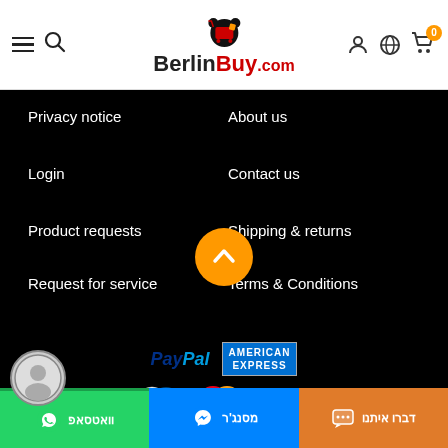[Figure (logo): BerlinBuy.com logo with bear and shopping cart icon, hamburger menu and search icons on left, user/globe/cart icons on right]
Privacy notice
About us
Login
Contact us
Product requests
Shipping & returns
Request for service
Terms & Conditions
[Figure (infographic): Payment method logos: PayPal, American Express, Diners Club International, MasterCard, VISA]
Copyright © 2022 BerlinBuy. All rights reserved.
[Figure (infographic): Bottom action bar with WhatsApp (וואטסאפ), Messenger (מסנג'ר), and Chat (דברו איתנו) buttons with Hebrew text and icons, plus avatar]